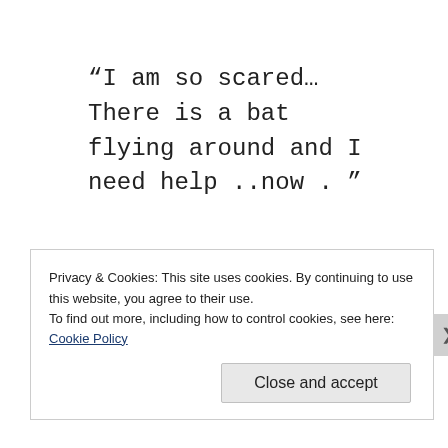“I am so scared… There is a bat flying around and I need help ..now . ”
Privacy & Cookies: This site uses cookies. By continuing to use this website, you agree to their use.
To find out more, including how to control cookies, see here: Cookie Policy
Close and accept